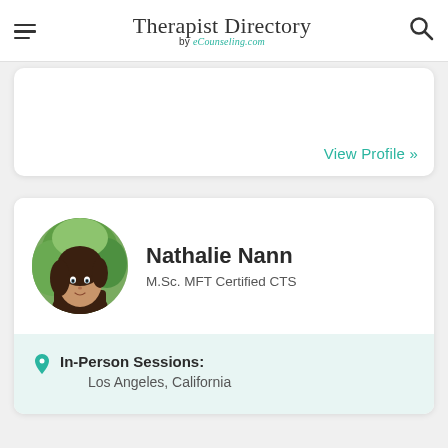Therapist Directory by eCounseling.com
View Profile »
Nathalie Nann
M.Sc. MFT Certified CTS
In-Person Sessions: Los Angeles, California